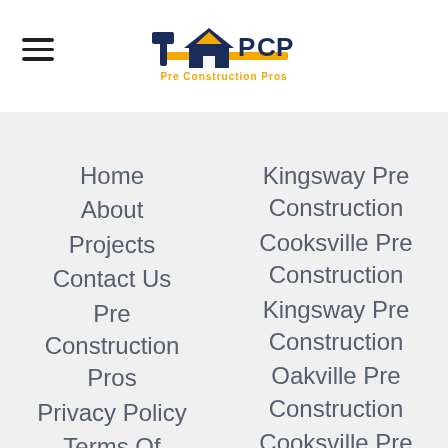[Figure (logo): Pre Construction Pros logo with hammer and house icon in navy and orange]
Home
About
Projects
Contact Us
Pre Construction Pros
Privacy Policy
Terms Of Service
Articles
Free Guide To Pre Construction
Kingsway Pre Construction
Cooksville Pre Construction
Kingsway Pre Construction
Oakville Pre Construction
Cooksville Pre Construction
Erin Pre Construction
Milton Pre Construction